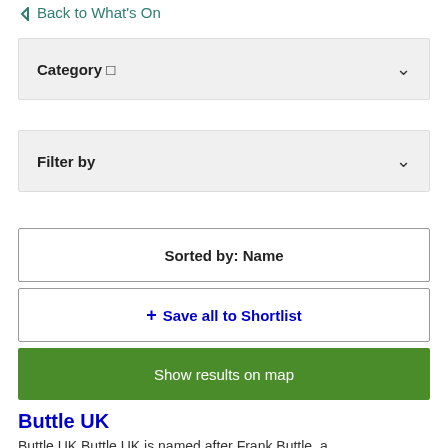← Back to What's On
Category □
Filter by
Sorted by: Name
+ Save all to Shortlist
Show results on map
Buttle UK
Buttle UK Buttle UK is named after Frank Buttle, a